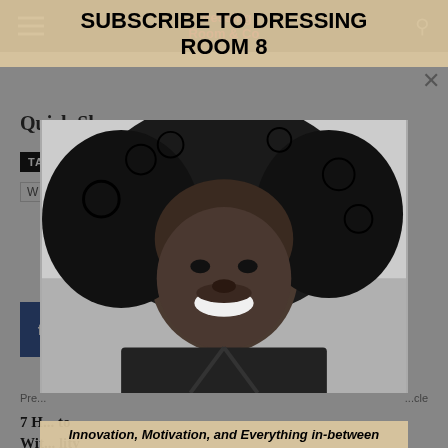Dressing Room 8
SUBSCRIBE TO DRESSING ROOM 8
[Figure (photo): Black and white portrait photo of a smiling woman with large natural afro hair and a denim jacket]
Innovation, Motivation, and Everything in-between
Quick Share
TAGS   Changes   Fashion   Goals   Jumpsuit   Style
7 H... to Wi... lity
Pre... Article